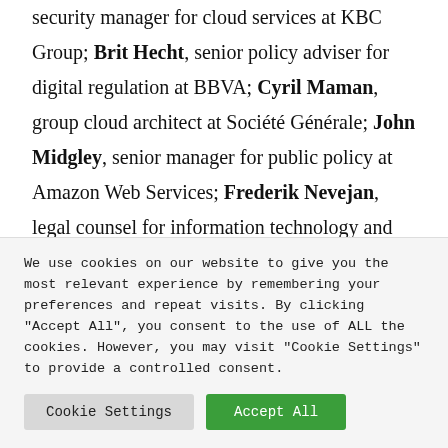security manager for cloud services at KBC Group; Brit Hecht, senior policy adviser for digital regulation at BBVA; Cyril Maman, group cloud architect at Société Générale; John Midgley, senior manager for public policy at Amazon Web Services; Frederik Nevejan, legal counsel for information technology and procurement at ING; and Emmanuel Sardet, technology advisory and cloud global lead at Accenture, also joined the rich and
We use cookies on our website to give you the most relevant experience by remembering your preferences and repeat visits. By clicking "Accept All", you consent to the use of ALL the cookies. However, you may visit "Cookie Settings" to provide a controlled consent.